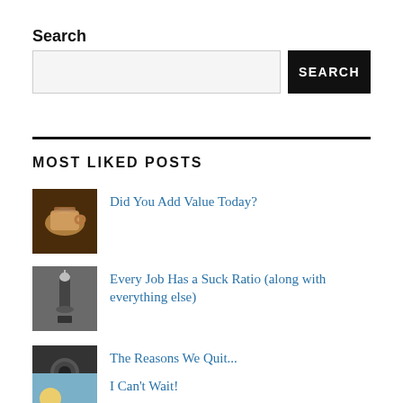Search
SEARCH (button)
MOST LIKED POSTS
Did You Add Value Today?
Every Job Has a Suck Ratio (along with everything else)
The Reasons We Quit...
I Can't Wait!